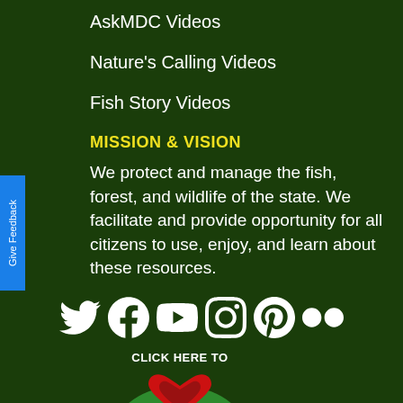AskMDC Videos
Nature's Calling Videos
Fish Story Videos
MISSION & VISION
We protect and manage the fish, forest, and wildlife of the state. We facilitate and provide opportunity for all citizens to use, enjoy, and learn about these resources.
[Figure (infographic): Social media icons row: Twitter, Facebook, YouTube, Instagram, Pinterest, Flickr — all white on dark green background]
[Figure (infographic): Click here to save a life button with heart and ribbon graphic in red and green]